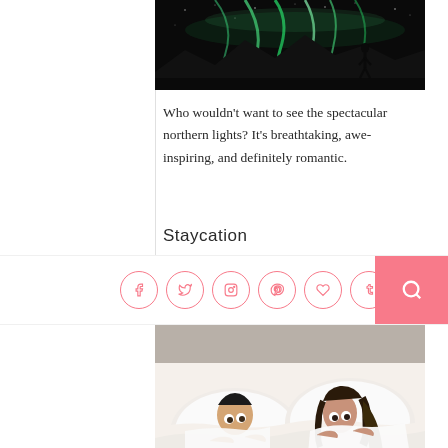[Figure (photo): Night sky photo showing the northern lights (aurora borealis) in green above a dark silhouetted landscape with a person standing]
Who wouldn't want to see the spectacular northern lights? It's breathtaking, awe-inspiring, and definitely romantic.
Staycation
[Figure (photo): A couple lying in bed peeking over white bedsheets and pillows, looking at the camera]
No need to leave the comfort of home to enjoy a special Valentine's Day date. Stay at home, cook a special dinner